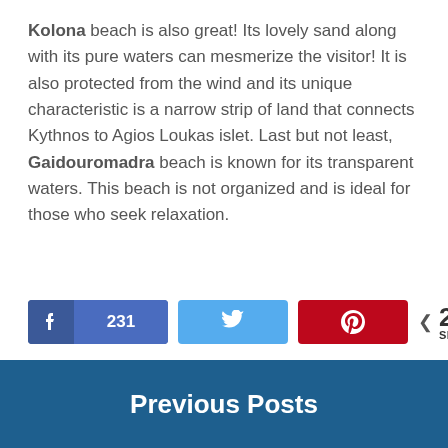Kolona beach is also great! Its lovely sand along with its pure waters can mesmerize the visitor! It is also protected from the wind and its unique characteristic is a narrow strip of land that connects Kythnos to Agios Loukas islet. Last but not least, Gaidouromadra beach is known for its transparent waters. This beach is not organized and is ideal for those who seek relaxation.
[Figure (other): Social sharing buttons: Facebook (231), Twitter, Pinterest, and share count showing 231 SHARES]
Previous Posts